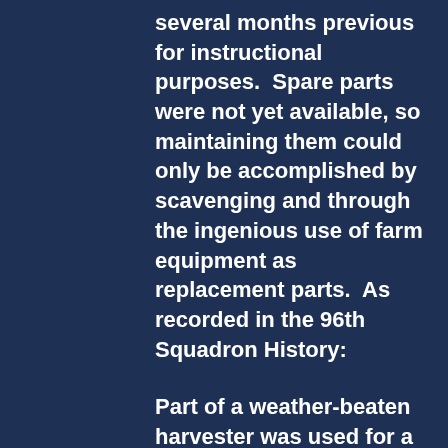several months previous for instructional purposes.  Spare parts were not yet available, so maintaining them could only be accomplished by scavenging and through the ingenious use of farm equipment as replacement parts.  As recorded in the 96th Squadron History:
Part of a weather-beaten harvester was used for a tail post for one of the planes, wagon tires were cut up and used for tail skids, and pieces of an ox-cart tongue were